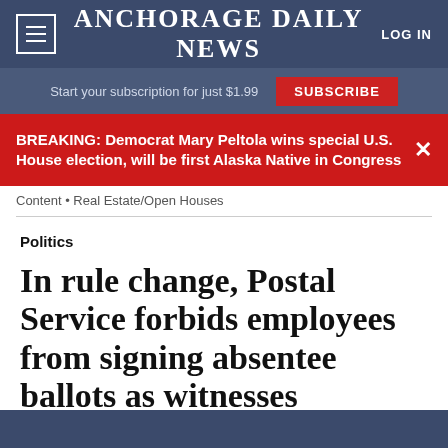ANCHORAGE DAILY NEWS
Start your subscription for just $1.99  SUBSCRIBE
BREAKING: Democrat Mary Peltola wins special U.S. House election, will be first Alaska Native in Congress
Content • Real Estate/Open Houses
Politics
In rule change, Postal Service forbids employees from signing absentee ballots as witnesses